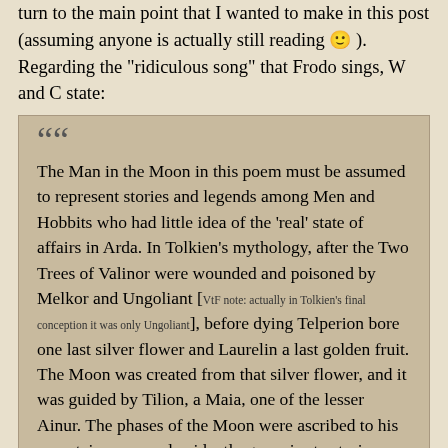turn to the main point that I wanted to make in this post (assuming anyone is actually still reading 🙂 ). Regarding the "ridiculous song" that Frodo sings, W and C state:
The Man in the Moon in this poem must be assumed to represent stories and legends among Men and Hobbits who had little idea of the 'real' state of affairs in Arda. In Tolkien's mythology, after the Two Trees of Valinor were wounded and poisoned by Melkor and Ungoliant [VtF note: actually in Tolkien's final conception it was only Ungoliant], before dying Telperion bore one last silver flower and Laurelin a last golden fruit. The Moon was created from that silver flower, and it was guided by Tilion, a Maia, one of the lesser Ainur. The phases of the Moon were ascribed to his uncertain pace, and evidently gave rise to stories such as the one told in this poem.
However, they later remind us that two pages later, in a footnote, Tolkien states that "Elves (and Hobbits) always refer to the Sun as She" and that Tolkien represents the Sun and Moon as female and male (the reverse of Greek and Roman mythology). Doesn't this seem like it is a contradiction? If the Hobbits follow the Elves lead in referring to the Sun as She (and the Moon as he), doesn't that